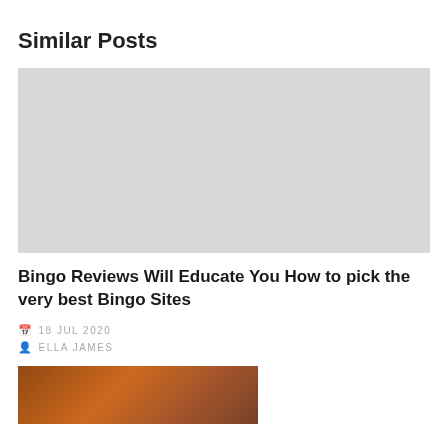Similar Posts
[Figure (photo): Light gray image placeholder rectangle]
Bingo Reviews Will Educate You How to pick the very best Bingo Sites
18 JUL 2020
ELLA JAMES
[Figure (photo): Partial bottom image showing dark brown/orange textured surface]